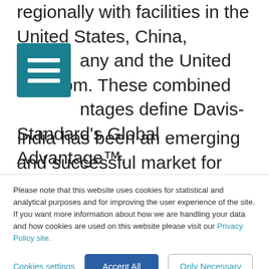regionally with facilities in the United States, China, any and the United Kingdom. These combined ntages define Davis-Standard's Global Advantage™.
India has been an emerging and successful market for Davis-Standard over the past 10 years. The company is pleased to have a reputable and growing client base in the region, specifically in the converting and medical extrusion sectors. Davis-Standard has addressed the need for high-value equipment by developing a new line of pre-engineered systems for converting and medical
Please note that this website uses cookies for statistical and analytical purposes and for improving the user experience of the site. If you want more information about how we are handling your data and how cookies are used on this website please visit our Privacy Policy site.